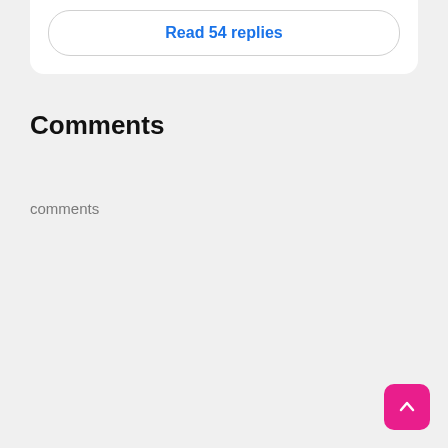Read 54 replies
Comments
comments